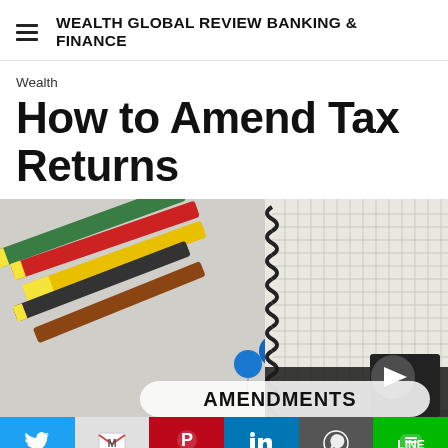WEALTH GLOBAL REVIEW BANKING & FINANCE
Wealth
How to Amend Tax Returns
[Figure (photo): Colored pencils, blue and yellow push pins on a white surface beside a spiral-bound grid notebook, with a sign reading AMENDMENTS overlaid at the bottom center, and a play/audio button icon in the lower right.]
Social sharing bar: Twitter, Gmail, Pinterest, LinkedIn, WhatsApp, Line